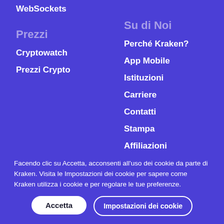WebSockets
Prezzi
Cryptowatch
Prezzi Crypto
Su di Noi
Perché Kraken?
App Mobile
Istituzioni
Carriere
Contatti
Stampa
Affiliazioni
Sovvenzioni
Facendo clic su Accetta, acconsenti all'uso dei cookie da parte di Kraken. Visita le Impostazioni dei cookie per sapere come Kraken utilizza i cookie e per regolare le tue preferenze.
Accetta
Impostazioni dei cookie